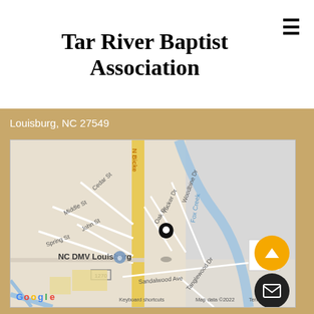Tar River Baptist Association
Louisburg, NC 27549
[Figure (map): Google Maps embed showing Louisburg, NC area with streets including Middle St, Cedar St, John St, Spring St, N Bickett, Oak Dr, Tucker Dr, Woodbine Dr, Fox Creek, Sandalwood Ave, Tanglewood Dr, with a location pin marker near NC DMV Louisburg. Map data ©2022. Includes zoom controls and Google logo.]